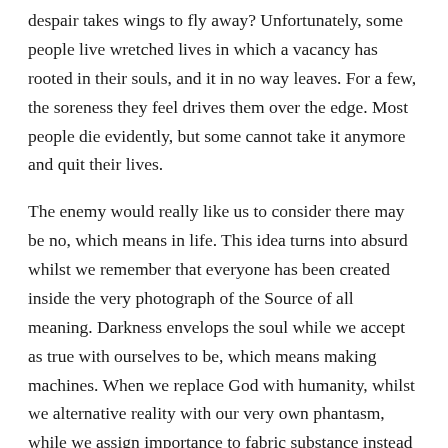despair takes wings to fly away? Unfortunately, some people live wretched lives in which a vacancy has rooted in their souls, and it in no way leaves. For a few, the soreness they feel drives them over the edge. Most people die evidently, but some cannot take it anymore and quit their lives.
The enemy would really like us to consider there may be no, which means in life. This idea turns into absurd whilst we remember that everyone has been created inside the very photograph of the Source of all meaning. Darkness envelops the soul while we accept as true with ourselves to be, which means making machines. When we replace God with humanity, whilst we alternative reality with our very own phantasm, while we assign importance to fabric substance instead of secular truth, we lose all meaning in life.
God is in no way the source of depression or discouragement or despondency. Rather, he is the author of desire and promise. True meaning in life is found in Christ, Jesus. He provided hope to the